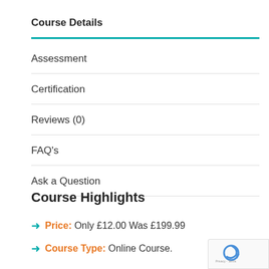Course Details
Assessment
Certification
Reviews (0)
FAQ's
Ask a Question
Course Highlights
Price: Only £12.00 Was £199.99
Course Type: Online Course.